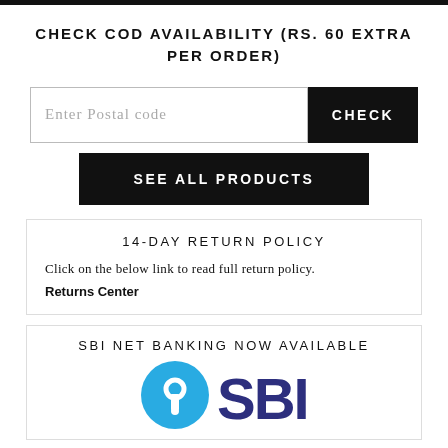CHECK COD AVAILABILITY (RS. 60 EXTRA PER ORDER)
Enter Postal code
CHECK
SEE ALL PRODUCTS
14-DAY RETURN POLICY
Click on the below link to read full return policy.
Returns Center
SBI NET BANKING NOW AVAILABLE
[Figure (logo): SBI (State Bank of India) logo with blue circular keyhole icon and SBI text in blue]